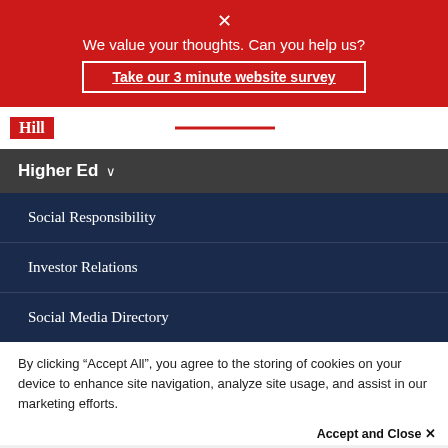✕
We value your thoughts. Can you help us?
Take our 3 minute website survey
[Figure (logo): Hill logo in red box]
Higher Ed ∨
Social Responsibility
Investor Relations
Social Media Directory
By clicking “Accept All”, you agree to the storing of cookies on your device to enhance site navigation, analyze site usage, and assist in our marketing efforts.
Accept and Close ✕
Your browser settings do not allow cross-site tracking for advertising. Click on this page to allow AdRoll to use cross-site tracking to tailor ads to you. Learn more or opt out of this AdRoll tracking by clicking here. This message only appears once.